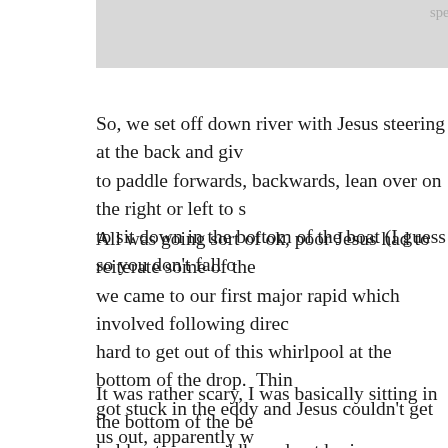spent the rest of the trip looking like he'd
So, we set off down river with Jesus steering at the back and giving instructions to paddle forwards, backwards, lean over on the right or left to steer and to sit down in the bottom of the boat (I guess so you don't fall o
All was going sort of ok, poor Jesus had to reiterate some of the instructions, we came to our first major rapid which involved following directions hard to get out of this whirlpool at the bottom of the drop. Things got stuck in the eddy and Jesus couldn't get us out, apparently we were paddling really really hard, not everyone was doing so.
It was rather scary, I was basically sitting in the bottom of the bo hold onto my paddle and not brain anyone with it, all this with me hyperventilating, water sloshing all over me (and everyone else) be thrown out of the boat.
David tells me that at times when we went under the water, the m